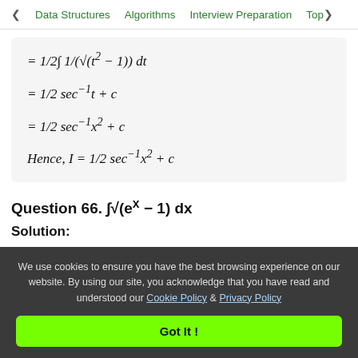< Data Structures   Algorithms   Interview Preparation   Top>
Question 66. ∫√(eˣ − 1) dx
Solution:
We use cookies to ensure you have the best browsing experience on our website. By using our site, you acknowledge that you have read and understood our Cookie Policy & Privacy Policy
Got It !